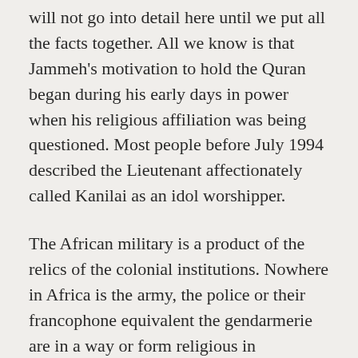will not go into detail here until we put all the facts together. All we know is that Jammeh's motivation to hold the Quran began during his early days in power when his religious affiliation was being questioned. Most people before July 1994 described the Lieutenant affectionately called Kanilai as an idol worshipper.
The African military is a product of the relics of the colonial institutions. Nowhere in Africa is the army, the police or their francophone equivalent the gendarmerie are in a way or form religious in disposition or practice.
The Gambian army is no different. In fact, the Gambian military is the home of secularism since it embodies men and women majority of who are not outright grounded in religious affairs. How then can